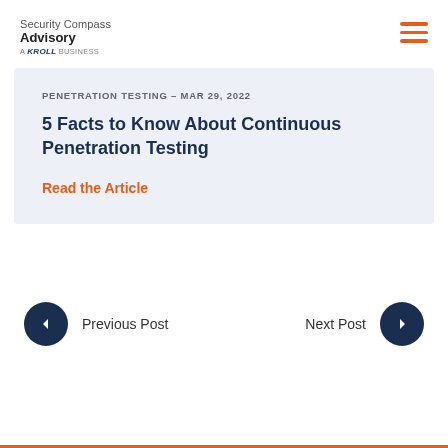Security Compass Advisory — A KROLL BUSINESS
PENETRATION TESTING – MAR 29, 2022
5 Facts to Know About Continuous Penetration Testing
Read the Article
Previous Post
Next Post